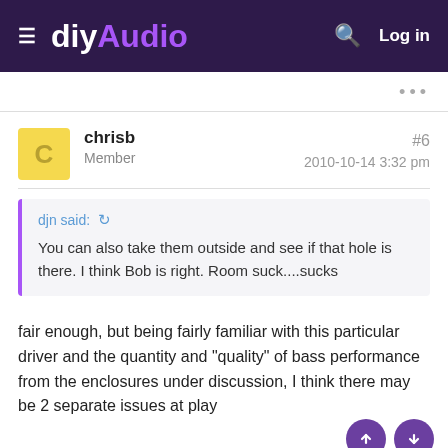diyAudio — Log in
chrisb Member #6 2010-10-14 3:32 pm
djn said: You can also take them outside and see if that hole is there. I think Bob is right. Room suck....sucks
fair enough, but being fairly familiar with this particular driver and the quantity and "quality" of bass performance from the enclosures under discussion, I think there may be 2 separate issues at play